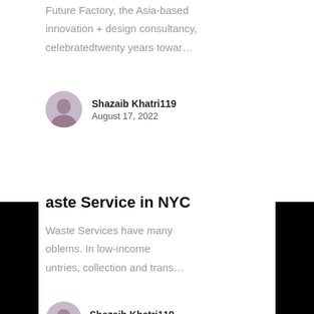Future Factory, the Asia-based innovation + design consultancy, celebratedtwenty years towar…
[Figure (photo): Round avatar photo of Shazaib Khatri119]
Shazaib Khatri119
August 17, 2022
aste Service in NYC
Waste Services have many oblems. In low-income untries, collection and trans…
[Figure (photo): Round avatar photo of Shazaib Khatri119]
Shazaib Khatri119
August 17, 2022
How To Safely Play Casinos On the web
These days there are a number of the web sites where customers can play casinos